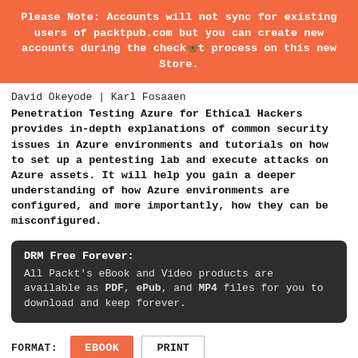Please Note: Accounts will not sync for existing users of packtpub.com but you can create new accounts during the checkout process on this new Store.
David Okeyode | Karl Fosaaen
Penetration Testing Azure for Ethical Hackers provides in-depth explanations of common security issues in Azure environments and tutorials on how to set up a pentesting lab and execute attacks on Azure assets. It will help you gain a deeper understanding of how Azure environments are configured, and more importantly, how they can be misconfigured.
DRM Free Forever: All Packt's eBook and Video products are available as PDF, ePub, and MP4 files for you to download and keep forever.
FORMAT: EBOOK PRINT CLEAR